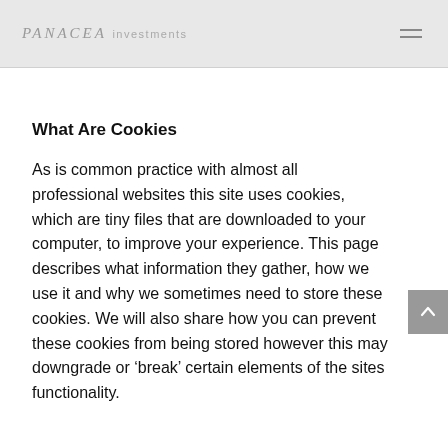PANACEA investments
What Are Cookies
As is common practice with almost all professional websites this site uses cookies, which are tiny files that are downloaded to your computer, to improve your experience. This page describes what information they gather, how we use it and why we sometimes need to store these cookies. We will also share how you can prevent these cookies from being stored however this may downgrade or ‘break’ certain elements of the sites functionality.